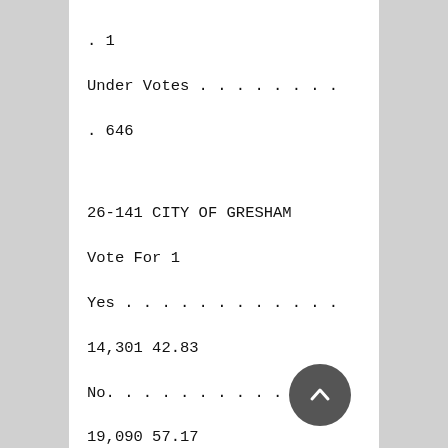. 1
Under Votes . . . . . . . .
. 646
26-141 CITY OF GRESHAM
Vote For 1
Yes . . . . . . . . . . . .
14,301 42.83
No. . . . . . . . . . . . .
19,090 57.17
Over Votes . . . . . . . .
. 7
Under Votes . . . . . . . .
. 5,556
26-142 CITY OF WOOD VILLAGE
Vote For 1
Yes . . . . . . . . . . . .
451 44.52